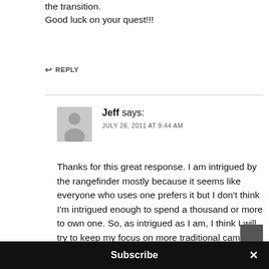the transition.
Good luck on your quest!!!
↩ REPLY
Jeff says:
JULY 26, 2011 AT 9:44 AM
Thanks for this great response. I am intrigued by the rangefinder mostly because it seems like everyone who uses one prefers it but I don't think I'm intrigued enough to spend a thousand or more to own one. So, as intrigued as I am, I think I will try to keep my focus on more traditional camera platforms. Thanks again.
Subscribe ×